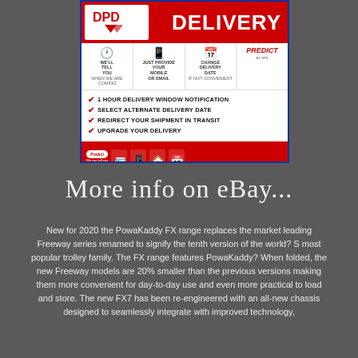[Figure (infographic): DPD delivery infographic showing 1-hour delivery window notification, select alternate delivery date, redirect your shipment in transit, upgrade your delivery features, plus Predict by DPD branding.]
More info on eBay...
New for 2020 the PowaKaddy FX range replaces the market leading Freeway series renamed to signify the tenth version of the world? S most popular trolley family. The FX range features PowaKaddy? When folded, the new Freeway models are 20% smaller than the previous versions making them more convenient for day-to-day use and even more practical to load and store. The new FX7 has been re-engineered with an all-new chassis designed to seamlessly integrate with improved technology,